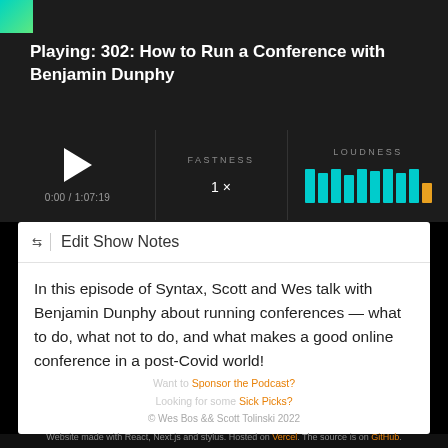Playing: 302: How to Run a Conference with Benjamin Dunphy
[Figure (screenshot): Podcast player UI with play button, time 0:00 / 1:07:19, FASTNESS 1x, LOUDNESS bars (cyan and gold)]
Edit Show Notes
In this episode of Syntax, Scott and Wes talk with Benjamin Dunphy about running conferences — what to do, what not to do, and what makes a good online conference in a post-Covid world!
Want to Sponsor the Podcast?
Looking for some Sick Picks?
© Wes Bos && Scott Tolinski 2022
Website made with React, Next.js and stylus. Hosted on Vercel. The source is on GitHub.